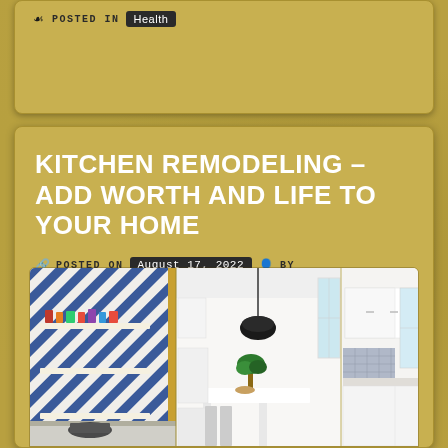POSTED IN Health
KITCHEN REMODELING – ADD WORTH AND LIFE TO YOUR HOME
POSTED ON August 17, 2022 BY Bridger
[Figure (photo): Kitchen interior photo showing blue patterned tile wall on left with open shelving and kitchen items, white modern kitchen in center with pendant light and island, and another white kitchen view on right]